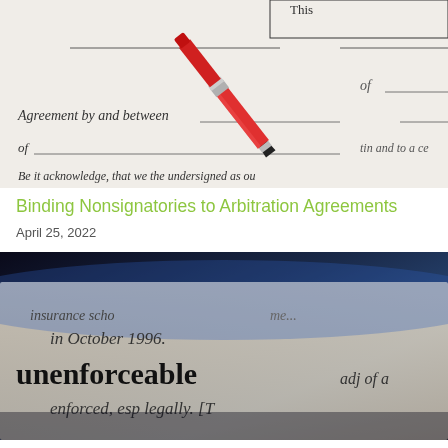[Figure (photo): Close-up of a legal agreement document with a red pen resting on it. Text visible includes 'Agreement by and between', 'of', and 'Be it acknowledge, that we the undersigned as our... in and to a ce...']
Binding Nonsignatories to Arbitration Agreements
April 25, 2022
[Figure (photo): Close-up of a legal dictionary or document page showing the word 'unenforceable adj of...' with text 'insurance scheme... in October 1996.' and 'enforced, esp legally. [T...']